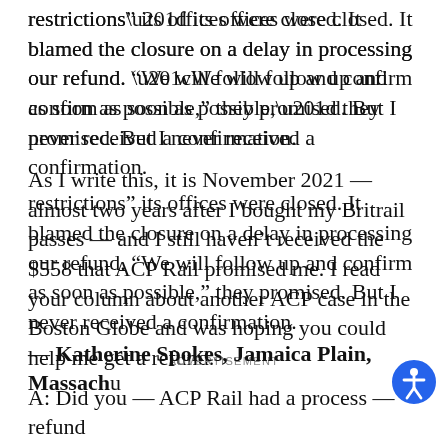restrictions” its offices were closed. It blamed the closure on a delay in processing our refund. “We will follow up and confirm as soon as possible,” they promised. But I never received a confirmation.
As I write this, it is November 2021 — almost two years after I bought my Britrail passes — and I still haven’t received the $558 that ACP Rail promised me. I read your column about another ACP case in the Boston Globe and was hoping you could help me get a refund.
ADVERTISEMENT
— Katherine Spokes, Jamaica Plain, Massach…
A: Did you — ACP Rail had a process — refund...